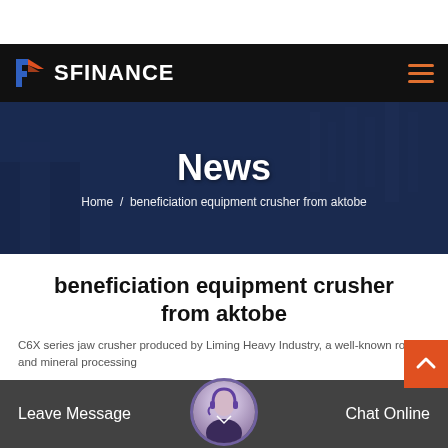SFINANCE
[Figure (photo): Hero banner with dark blue overlay showing construction workers and building in background. Title 'News' centered, breadcrumb 'Home / beneficiation equipment crusher from aktobe' below.]
beneficiation equipment crusher from aktobe
C6X series jaw crusher produced by Liming Heavy Industry, a well-known rock and mineral processing
Leave Message   Chat Online